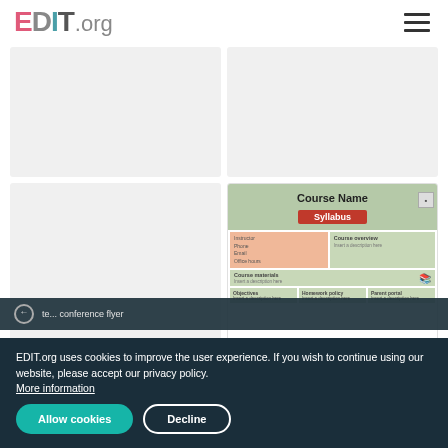EDIT.org
[Figure (other): Gray placeholder card (top left)]
[Figure (other): Gray placeholder card (top right)]
[Figure (other): Gray placeholder card (bottom left)]
[Figure (illustration): Syllabus course template card showing 'Course Name Syllabus' header in sage green with red ribbon, followed by instructor info box, course overview box, course materials section, and bottom row with Objectives, Homework policy, Parent portal sections]
EDIT.org uses cookies to improve the user experience. If you wish to continue using our website, please accept our privacy policy. More information
Allow cookies
Decline